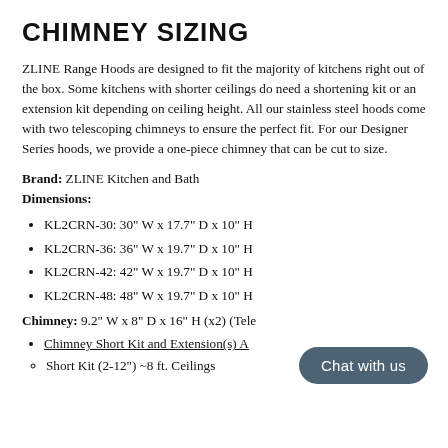CHIMNEY SIZING
ZLINE Range Hoods are designed to fit the majority of kitchens right out of the box. Some kitchens with shorter ceilings do need a shortening kit or an extension kit depending on ceiling height. All our stainless steel hoods come with two telescoping chimneys to ensure the perfect fit. For our Designer Series hoods, we provide a one-piece chimney that can be cut to size.
Brand: ZLINE Kitchen and Bath
Dimensions:
KL2CRN-30: 30" W x 17.7" D x 10" H
KL2CRN-36: 36" W x 19.7" D x 10" H
KL2CRN-42: 42" W x 19.7" D x 10" H
KL2CRN-48: 48" W x 19.7" D x 10" H
Chimney: 9.2" W x 8" D x 16" H (x2) (Tele...
Chimney Short Kit and Extension(s) A...
Short Kit (2-12") ~8 ft. Ceilings